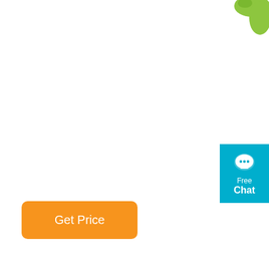[Figure (photo): Partial product image showing a green tool/jigsaw handle in the top right corner]
[Figure (other): Blue chat widget button with speech bubble icon, showing 'Free Chat' text]
| 10 pc. - ...
udes blades for general-purpose wood cutting, and varied thicknesses of metal (ferrous audes durable plastic case for blade storage. T-shank design for maximum grip and stability which fits over 90% of current jigsaw makes and models.
Get Price